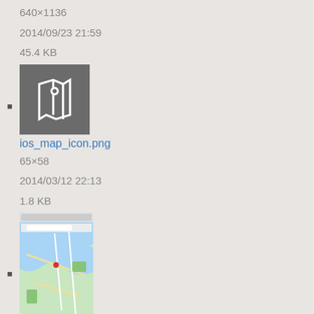640×1136
2014/09/23 21:59
45.4 KB
[Figure (screenshot): iOS map icon thumbnail - dark gray square with white map/navigation icon]
ios_map_icon.png
65×58
2014/03/12 22:13
1.8 KB
[Figure (screenshot): iOS map view screenshot thumbnail showing a colorful street map]
ios_map_view.png
360×640
2014/03/12 22:40
335 KB
[Figure (screenshot): Another iOS map view screenshot thumbnail at bottom of page]